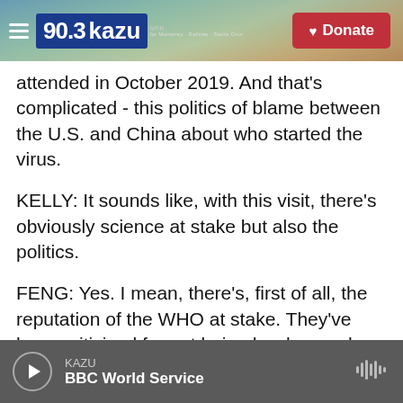[Figure (screenshot): KAZU 90.3 radio station navigation bar with scenic coastal background, hamburger menu, logo, and red Donate button]
attended in October 2019. And that's complicated - this politics of blame between the U.S. and China about who started the virus.
KELLY: It sounds like, with this visit, there's obviously science at stake but also the politics.
FENG: Yes. I mean, there's, first of all, the reputation of the WHO at stake. They've been criticized for not being hard enough on China, not making it be transparent. And now they're under pressure to conduct a thorough investigation. And second, this investigation has bearing on U.S.-China relations. This question of where the virus began is incredibly
KAZU BBC World Service